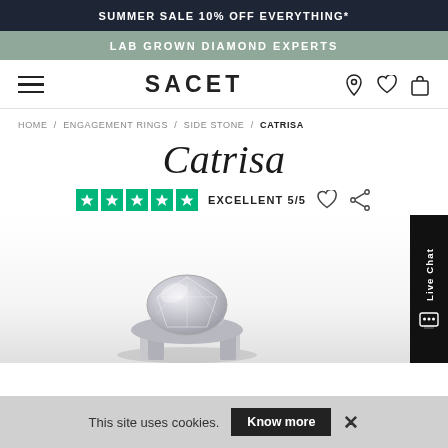SUMMER SALE 10% OFF EVERYTHING*
LAB GROWN DIAMOND EXPERTS
SACET
HOME / ENGAGEMENT RINGS / SIDE STONE / CATRISA
Catrisa
EXCELLENT 5/5
[Figure (photo): Close-up photograph of the Catrisa diamond engagement ring, showing a round brilliant cut diamond set in a four-claw silver/platinum setting with side stones.]
This site uses cookies. Know more ×